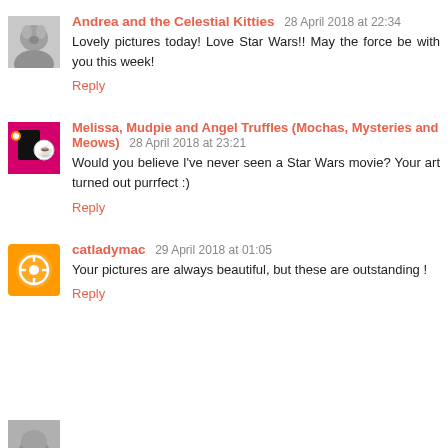Andrea and the Celestial Kitties 28 April 2018 at 22:34
Lovely pictures today! Love Star Wars!! May the force be with you this week!
Reply
Melissa, Mudpie and Angel Truffles (Mochas, Mysteries and Meows) 28 April 2018 at 23:21
Would you believe I've never seen a Star Wars movie? Your art turned out purrfect :)
Reply
catladymac 29 April 2018 at 01:05
Your pictures are always beautiful, but these are outstanding !
Reply